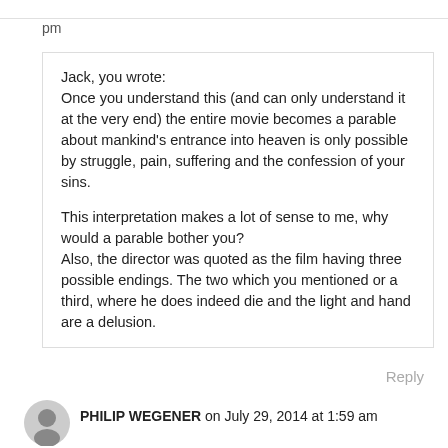pm
Jack, you wrote:
Once you understand this (and can only understand it at the very end) the entire movie becomes a parable about mankind's entrance into heaven is only possible by struggle, pain, suffering and the confession of your sins.

This interpretation makes a lot of sense to me, why would a parable bother you?
Also, the director was quoted as the film having three possible endings. The two which you mentioned or a third, where he does indeed die and the light and hand are a delusion.
Reply
PHILIP WEGENER on July 29, 2014 at 1:59 am